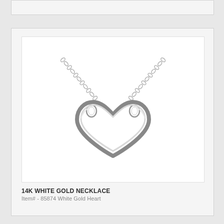[Figure (photo): Product photo of a 14K white gold open heart pendant necklace on a white background. The heart pendant is a simple open loop heart shape with a polished white gold finish, suspended from a delicate cable chain.]
14K WHITE GOLD NECKLACE
Item# - 85874 White Gold Heart